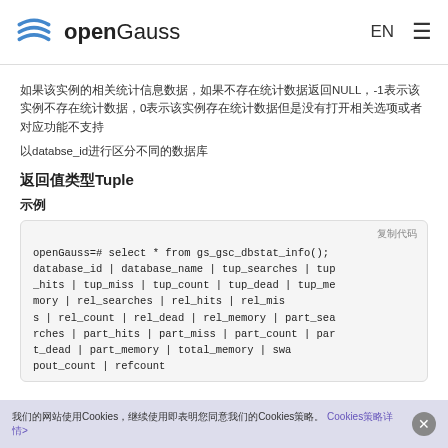openGauss  EN  ☰
如果该实例的相关统计信息数据，如果不存在统计数据返回NULL，-1表示该实例不存在统计数据，0表示该实例存在统计数据但是没有打开相关选项或者对应功能不支持
以databse_id进行区分不同的数据库
返回值类型Tuple
示例
[Figure (screenshot): Code block showing openGauss SQL query: openGauss=# select * from gs_gsc_dbstat_info(); with column headers database_id | database_name | tup_searches | tup_hits | tup_miss | tup_count | tup_dead | tup_memory | rel_searches | rel_hits | rel_miss | rel_count | rel_dead | rel_memory | part_searches | part_hits | part_miss | part_count | part_dead | part_memory | total_memory | swapout_count | refcount]
我们的网站使用Cookies，继续使用即表明您同意我们的Cookies策略。 Cookies策略详情>  ✕